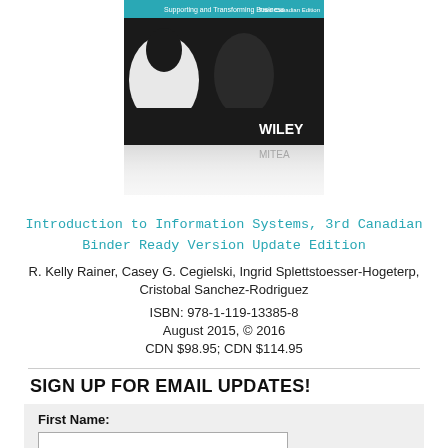[Figure (photo): Book cover of Information Systems: Supporting and Transforming Business, Third Canadian Edition, published by Wiley. Shows partial book cover with puzzle piece design and reflection below.]
Introduction to Information Systems, 3rd Canadian Binder Ready Version Update Edition
R. Kelly Rainer, Casey G. Cegielski, Ingrid Splettstoesser-Hogeterp, Cristobal Sanchez-Rodriguez
ISBN: 978-1-119-13385-8
August 2015, © 2016
CDN $98.95; CDN $114.95
SIGN UP FOR EMAIL UPDATES!
First Name:
Last Name: